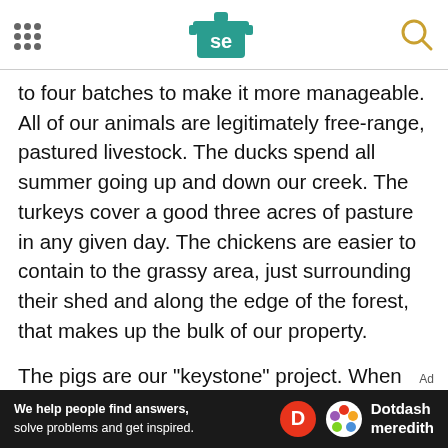SE logo header with navigation dots and search icon
to four batches to make it more manageable. All of our animals are legitimately free-range, pastured livestock. The ducks spend all summer going up and down our creek. The turkeys cover a good three acres of pasture in any given day. The chickens are easier to contain to the grassy area, just surrounding their shed and along the edge of the forest, that makes up the bulk of our property.
The pigs are our "keystone" project. When people ask, we say we have a pig farm. This despite only having three to six pigs at any given time (and often zero from December to April). The pig is just so versatile in its culinary applications that you can get
Ad — We help people find answers, solve problems and get inspired. Dotdash meredith